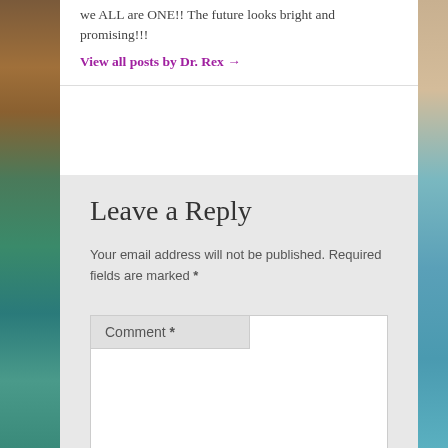we ALL are ONE!! The future looks bright and promising!!!
View all posts by Dr. Rex →
Leave a Reply
Your email address will not be published. Required fields are marked *
Comment *